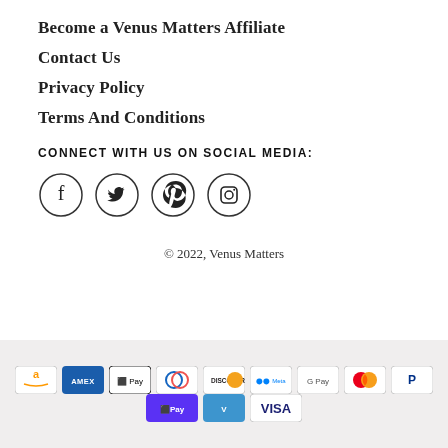Become a Venus Matters Affiliate
Contact Us
Privacy Policy
Terms And Conditions
CONNECT WITH US ON SOCIAL MEDIA:
[Figure (infographic): Four social media icons in circles: Facebook, Twitter, Pinterest, Instagram]
© 2022, Venus Matters
[Figure (infographic): Payment method logos: Amazon Pay, Amex, Apple Pay, Diners Club, Discover, Meta Pay, Google Pay, Mastercard, PayPal, Shop Pay, Venmo, Visa]